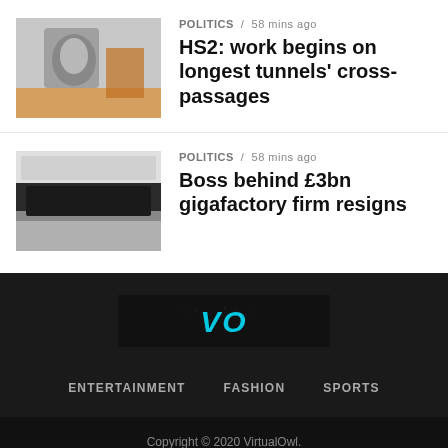POLITICS / 58 mins ago — HS2: work begins on longest tunnels' cross-passages
POLITICS / 58 mins ago — Boss behind £3bn gigafactory firm resigns
[Figure (logo): VirtualOwl logo: black rectangle with VO text in cyan distressed font]
ENTERTAINMENT   FASHION   SPORTS
Copyright © 2020 VirtualOwl.